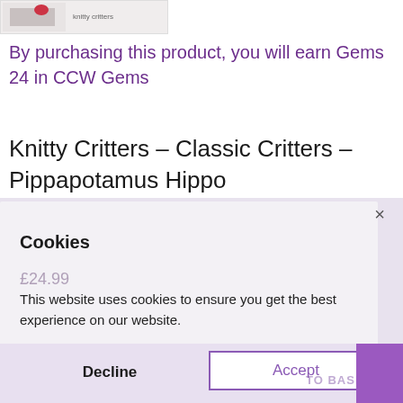[Figure (photo): Small product thumbnail image with red/pink design on white/grey background]
By purchasing this product, you will earn Gems 24 in CCW Gems
Knitty Critters – Classic Critters – Pippapotamus Hippo
Cookies
£24.99
This website uses cookies to ensure you get the best experience on our website.
Learn more
Decline
Accept
ADD TO BASKET